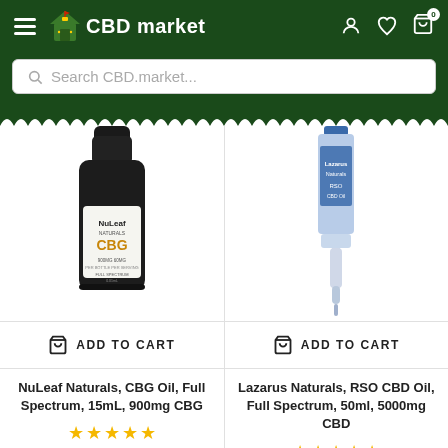CBD market
Search CBD.market...
[Figure (photo): NuLeaf Naturals CBG Oil bottle, dark glass, 15mL]
[Figure (photo): Lazarus Naturals RSO CBD Oil syringe/applicator, 50ml]
ADD TO CART
ADD TO CART
NuLeaf Naturals, CBG Oil, Full Spectrum, 15mL, 900mg CBG
Lazarus Naturals, RSO CBD Oil, Full Spectrum, 50ml, 5000mg CBD